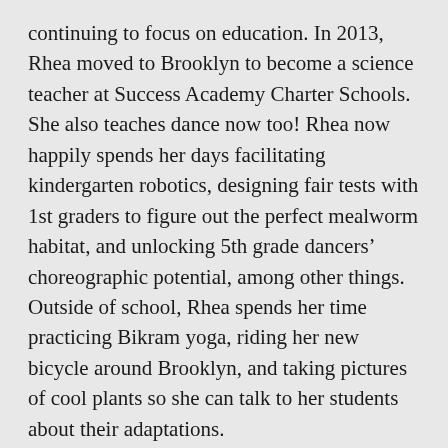continuing to focus on education. In 2013, Rhea moved to Brooklyn to become a science teacher at Success Academy Charter Schools. She also teaches dance now too! Rhea now happily spends her days facilitating kindergarten robotics, designing fair tests with 1st graders to figure out the perfect mealworm habitat, and unlocking 5th grade dancers' choreographic potential, among other things. Outside of school, Rhea spends her time practicing Bikram yoga, riding her new bicycle around Brooklyn, and taking pictures of cool plants so she can talk to her students about their adaptations.
Follow along with Rhea's day on Twitter!!